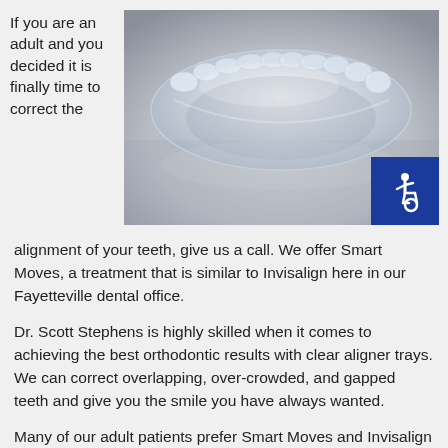If you are an adult and you decided it is finally time to correct the
[Figure (photo): Close-up photo of a clear dental aligner tray on a reflective grey surface]
[Figure (other): Blue accessibility icon with wheelchair symbol]
alignment of your teeth, give us a call. We offer Smart Moves, a treatment that is similar to Invisalign here in our Fayetteville dental office.
Dr. Scott Stephens is highly skilled when it comes to achieving the best orthodontic results with clear aligner trays. We can correct overlapping, over-crowded, and gapped teeth and give you the smile you have always wanted.
Many of our adult patients prefer Smart Moves and Invisalign